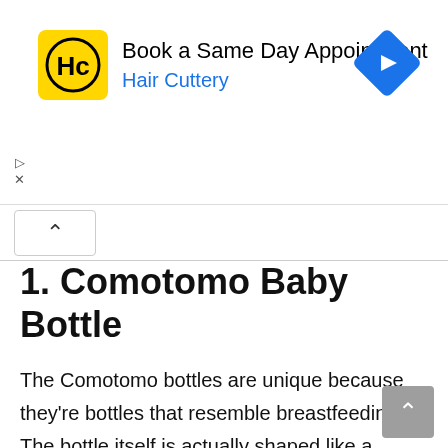[Figure (screenshot): Hair Cuttery advertisement banner with logo, text 'Book a Same Day Appointment' and 'Hair Cuttery' in blue, plus a blue diamond navigation arrow icon on the right.]
1. Comotomo Baby Bottle
The Comotomo bottles are unique because they're bottles that resemble breastfeeding. The bottle itself is actually shaped like a breast to help your little one with the transition. The body is made of a soft silicone your little one can squeeze during feedings.